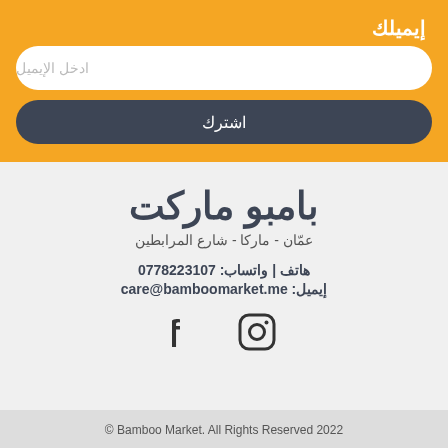إيميلك
ادخل الإيميل
اشترك
بامبو ماركت
عمّان - ماركا - شارع المرابطين
هاتف | واتساب: 0778223107
إيميل: care@bamboomarket.me
[Figure (logo): Instagram and Facebook social media icons]
Bamboo Market. All Rights Reserved 2022 ©